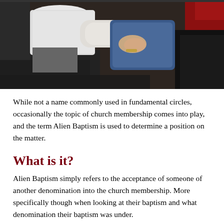[Figure (photo): A person in a white shirt performing a baptism, holding someone's hands over water, with another person in a blue shirt visible.]
While not a name commonly used in fundamental circles, occasionally the topic of church membership comes into play, and the term Alien Baptism is used to determine a position on the matter.
What is it?
Alien Baptism simply refers to the acceptance of someone of another denomination into the church membership. More specifically though when looking at their baptism and what denomination their baptism was under.